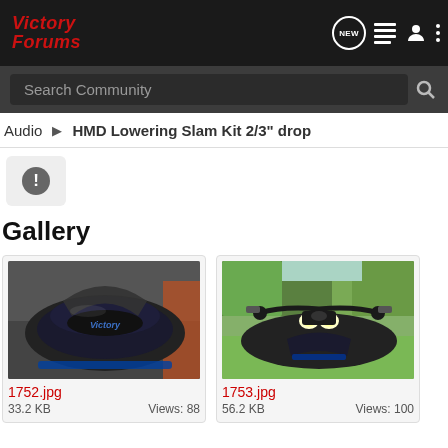Victory Forums — NEW | list | user | more
Search Community
Audio  HMD Lowering Slam Kit 2/3" drop
[Figure (other): Warning/info icon button in light gray rounded rectangle]
Gallery
[Figure (photo): Motorcycle front tank closeup with Victory logo, dark blue/black bike]
1752.jpg
33.2 KB   Views: 88
[Figure (photo): Motorcycle front handlebars and headlights view, outdoors on grass]
1753.jpg
56.2 KB   Views: 100